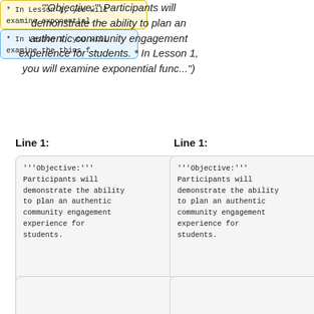'''Objective:''' Participants will demonstrate the ability to plan an authentic community engagement experience for students. * In Lesson 1, you will examine exponential func...")
Line 1:
Line 1:
'''Objective:''' Participants will demonstrate the ability to plan an authentic community engagement experience for students.
'''Objective:''' Participants will demonstrate the ability to plan an authentic community engagement experience for students.
* In Lesson 1, you will
* In Lesson 1, you will